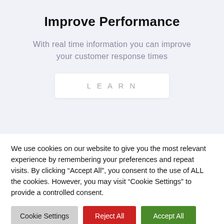Improve Performance
With real time information you can improve your customer response times
LEARN
We use cookies on our website to give you the most relevant experience by remembering your preferences and repeat visits. By clicking “Accept All”, you consent to the use of ALL the cookies. However, you may visit “Cookie Settings” to provide a controlled consent.
Cookie Settings | Reject All | Accept All